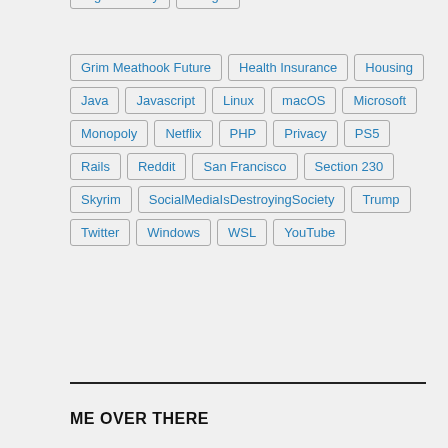Gig Economy
Google
Grim Meathook Future
Health Insurance
Housing
Java
Javascript
Linux
macOS
Microsoft
Monopoly
Netflix
PHP
Privacy
PS5
Rails
Reddit
San Francisco
Section 230
Skyrim
SocialMediaIsDestroying Society
Trump
Twitter
Windows
WSL
YouTube
ME OVER THERE